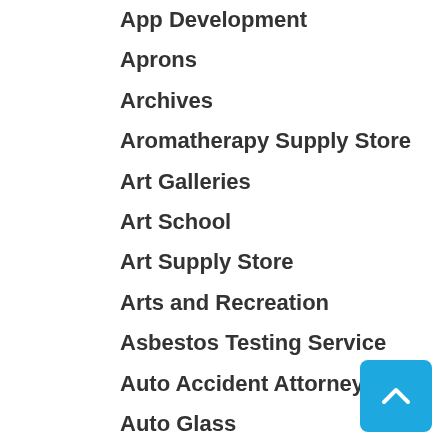App Development
Aprons
Archives
Aromatherapy Supply Store
Art Galleries
Art School
Art Supply Store
Arts and Recreation
Asbestos Testing Service
Auto Accident Attorney
Auto Glass
Automotive
Aviation Consultancy
Awards & Gifts
Bail Bonds
Bail Bonds
Bakery